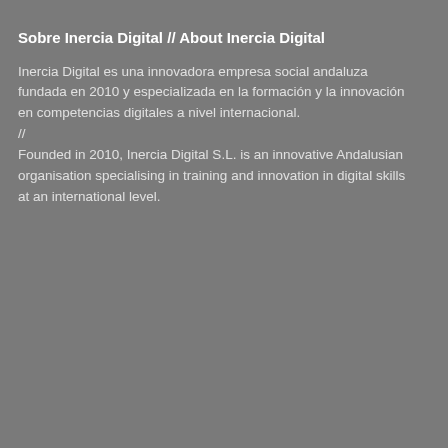Sobre Inercia Digital // About Inercia Digital
Inercia Digital es una innovadora empresa social andaluza fundada en 2010 y especializada en la formación y la innovación en competencias digitales a nivel internacional.
//
Founded in 2010, Inercia Digital S.L. is an innovative Andalusian organisation specialising in training and innovation in digital skills at an international level.
Entradas recie…
Las personas de la… manejar con facil… gracias al proyec… will be able to ma… thanks to the gany…
¡Ya están disponib… alfabetización dig… The digital literac… project have alrea…
¡Segunda formaci… del Sector Turístic… Second training fo… Tourism and Hosp… Spain!
Inercia Digital, yo… CoVEs proposals.… digital para las pr…